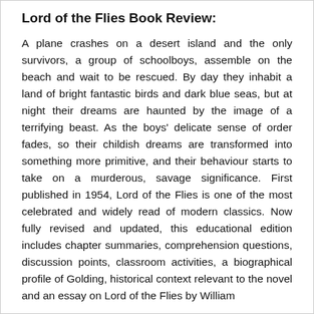Lord of the Flies Book Review:
A plane crashes on a desert island and the only survivors, a group of schoolboys, assemble on the beach and wait to be rescued. By day they inhabit a land of bright fantastic birds and dark blue seas, but at night their dreams are haunted by the image of a terrifying beast. As the boys' delicate sense of order fades, so their childish dreams are transformed into something more primitive, and their behaviour starts to take on a murderous, savage significance. First published in 1954, Lord of the Flies is one of the most celebrated and widely read of modern classics. Now fully revised and updated, this educational edition includes chapter summaries, comprehension questions, discussion points, classroom activities, a biographical profile of Golding, historical context relevant to the novel and an essay on Lord of the Flies by William